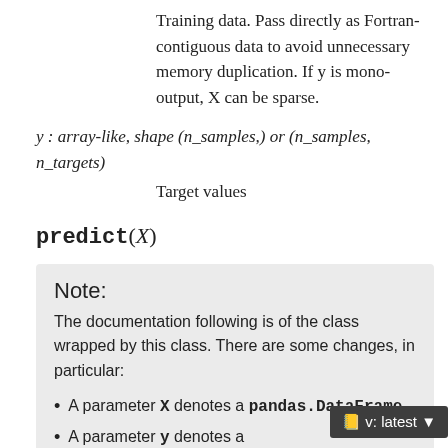Training data. Pass directly as Fortran-contiguous data to avoid unnecessary memory duplication. If y is mono-output, X can be sparse.
y : array-like, shape (n_samples,) or (n_samples, n_targets)
Target values
predict(X)
Note:
The documentation following is of the class wrapped by this class. There are some changes, in particular:
A parameter X denotes a pandas.DataFrame.
A parameter y denotes a pandas.Series